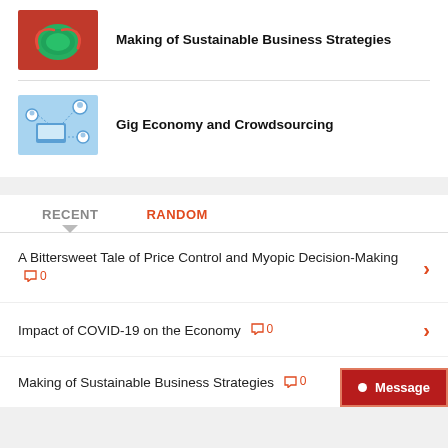[Figure (illustration): Red and green illustration thumbnail for sustainable business strategies article]
Making of Sustainable Business Strategies
[Figure (illustration): Blue illustration thumbnail showing laptop, people icons, and devices for gig economy article]
Gig Economy and Crowdsourcing
RECENT
RANDOM
A Bittersweet Tale of Price Control and Myopic Decision-Making 0
Impact of COVID-19 on the Economy 0
Making of Sustainable Business Strategies 0